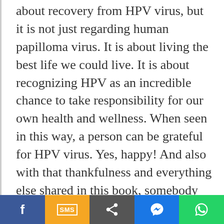about recovery from HPV virus, but it is not just regarding human papilloma virus. It is about living the best life we could live. It is about recognizing HPV as an incredible chance to take responsibility for our own health and wellness. When seen in this way, a person can be grateful for HPV virus. Yes, happy! And also with that thankfulness and everything else shared in this book, somebody can, and an individual will, recover the body! The writer knows this works due to the fact that it worked for her - it altered her life and also her health.
[Figure (other): Social sharing bar with five buttons: Facebook (blue), SMS (orange/yellow), Share (dark grey), Messenger (blue), WhatsApp (green)]